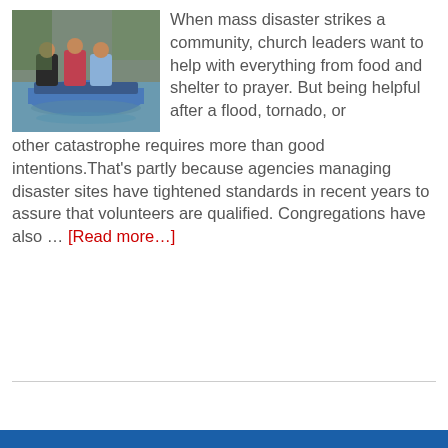[Figure (photo): Three children sitting in a small blue boat on water]
When mass disaster strikes a community, church leaders want to help with everything from food and shelter to prayer. But being helpful after a flood, tornado, or other catastrophe requires more than good intentions. That's partly because agencies managing disaster sites have tightened standards in recent years to assure that volunteers are qualified. Congregations have also … [Read more…]